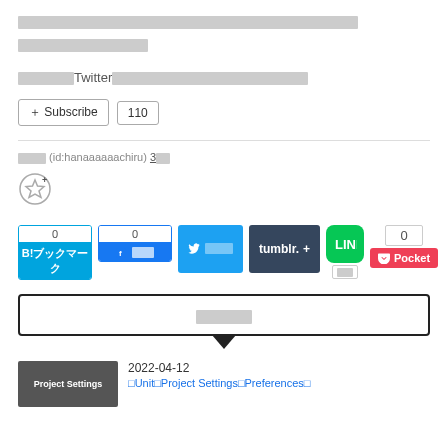□□□□□□□□□□□□□□□□□□□□□□□□□□□□□□□□□□□□□□□□□□□
□□□□□□□□□□□□□□
□□□□□□Twitter□□□□□□□□□□□□□□□□□□□□□□□
+ Subscribe  110
□□□□ (id:hanaaaaaachiru) 3□□
[Figure (infographic): Social share buttons: Hatena Bookmark (0), Facebook (0), Twitter share button, Tumblr+ button, LINE button, count 0, Pocket button]
□□□□
2022-04-12
□Unit□Project Settings□Preferences□